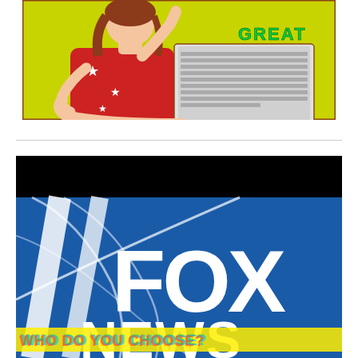[Figure (illustration): Comic-style illustration of a woman in a red star-patterned top pointing, holding a laptop, on a yellow-green background with decorative text reading 'GREAT']
[Figure (logo): Fox News logo on blue background with large white FOX lettering and curved graphic design element, with colorful text overlay reading 'WHO DO YOU CHOOSE?' at the bottom, topped with a black banner]